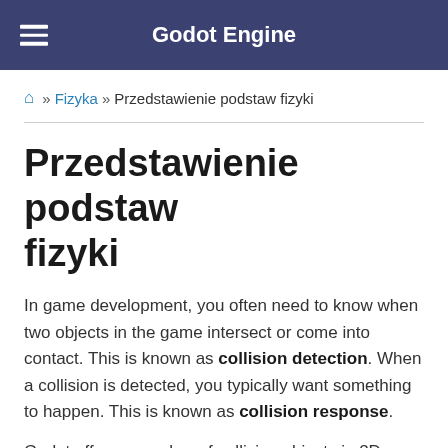Godot Engine
🏠 » Fizyka » Przedstawienie podstaw fizyki
Przedstawienie podstaw fizyki
In game development, you often need to know when two objects in the game intersect or come into contact. This is known as collision detection. When a collision is detected, you typically want something to happen. This is known as collision response.
Godot offers a number of collision objects in 2D